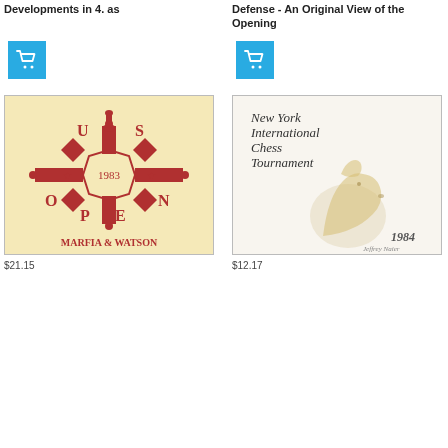Developments in 4. as
Defense - An Original View of the Opening
[Figure (screenshot): Blue shopping cart button icon on left column]
[Figure (screenshot): Blue shopping cart button icon on right column]
[Figure (photo): Book cover: US Open 1983, Marfia & Watson - cream/yellow background with red chess piece ornamental design]
[Figure (photo): Book cover: New York International Chess Tournament 1984 by Jeffrey Naier - cream background with horse head illustration in gold/brown]
$21.15
$12.17